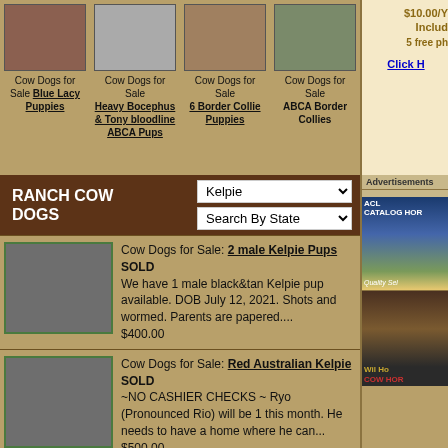[Figure (photo): Small brown puppy curled up sleeping]
Cow Dogs for Sale Blue Lacy Puppies
[Figure (photo): Black and white cow dogs in pen]
Cow Dogs for Sale Heavy Bocephus & Tony bloodline ABCA Pups
[Figure (photo): Cow dogs photo]
Cow Dogs for Sale 6 Border Collie Puppies
[Figure (photo): Border Collie dogs]
Cow Dogs for Sale ABCA Border Collies
$10.00/Y Includ 5 free ph
Click H
RANCH COW DOGS
Kelpie
Search By State
[Figure (photo): Kelpie pups in a field]
Cow Dogs for Sale: 2 male Kelpie Pups SOLD
We have 1 male black&tan Kelpie pup available. DOB July 12, 2021. Shots and wormed. Parents are papered....
$400.00
[Figure (photo): Red Australian Kelpie in car]
Cow Dogs for Sale: Red Australian Kelpie SOLD
~NO CASHIER CHECKS ~ Ryo (Pronounced Rio) will be 1 this month. He needs to have a home where he can...
$500.00
[Figure (photo): Australian dog thumbnail]
Cow Dogs for Sale: Australian
Advertisements
[Figure (photo): ACLA Catalog horse advertisement showing chestnut horse]
[Figure (photo): Wil Ho Cow Hor advertisement showing dark horses]